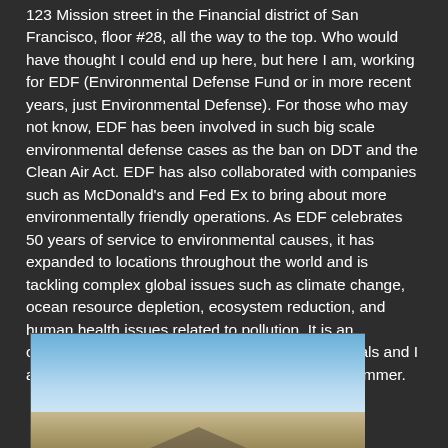123 Mission street in the Financial district of San Francisco, floor #28, all the way to the top. Who would have thought I could end up here, but here I am, working for EDF (Environmental Defense Fund or in more recent years, just Environmental Defense). For those who may not know, EDF has been involved in such big scale environmental defense cases as the ban on DDT and the Clean Air Act. EDF has also collaborated with companies such as McDonald's and Fed Ex to bring about more environmentally friendly operations. As EDF celebrates 50 years of service to environmental causes, it has expanded to locations throughout the world and is tackling complex global issues such as climate change, ocean resource depletion, ecosystem reduction, and human health issues related to pollution. It is an organization full of inspired and inspiring individuals and I am so lucky to be working alongside them this summer.
[Figure (photo): Outdoor photograph showing a clear blue sky gradient transitioning to a landscape below, with what appears to be terrain or cityscape in the lower portion.]